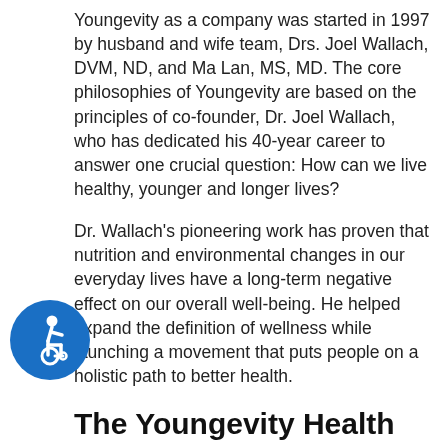Youngevity as a company was started in 1997 by husband and wife team, Drs. Joel Wallach, DVM, ND, and Ma Lan, MS, MD. The core philosophies of Youngevity are based on the principles of co-founder, Dr. Joel Wallach, who has dedicated his 40-year career to answer one crucial question: How can we live healthy, younger and longer lives?
Dr. Wallach's pioneering work has proven that nutrition and environmental changes in our everyday lives have a long-term negative effect on our overall well-being. He helped expand the definition of wellness while launching a movement that puts people on a holistic path to better health.
The Youngevity Health Assessment Quiz
For better health and for chronic
[Figure (illustration): Blue circular accessibility icon showing a wheelchair user symbol in white]